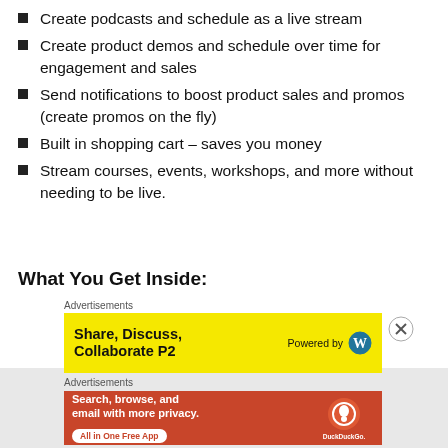Create podcasts and schedule as a live stream
Create product demos and schedule over time for engagement and sales
Send notifications to boost product sales and promos (create promos on the fly)
Built in shopping cart – saves you money
Stream courses, events, workshops, and more without needing to be live.
What You Get Inside:
[Figure (other): Yellow advertisement banner: Share, Discuss, Collaborate P2 – Powered by WordPress logo]
[Figure (other): Orange DuckDuckGo advertisement: Search, browse, and email with more privacy. All in One Free App.]